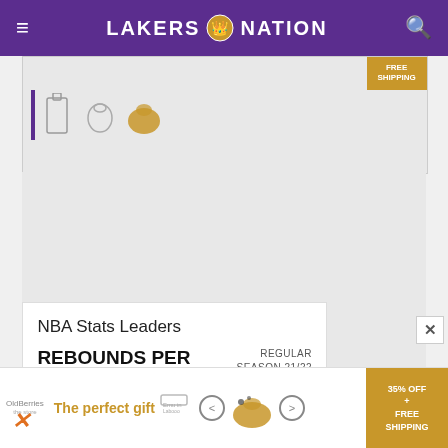LAKERS NATION
[Figure (photo): Advertisement banner showing cooking/kitchenware items with a gold shipping badge]
[Figure (photo): Gray blank advertisement area]
NBA Stats Leaders
REBOUNDS PER GAME
REGULAR SEASON 21/22
[Figure (photo): Bottom advertisement banner showing 'The perfect gift' with bowl imagery and 35% OFF + FREE SHIPPING badge]